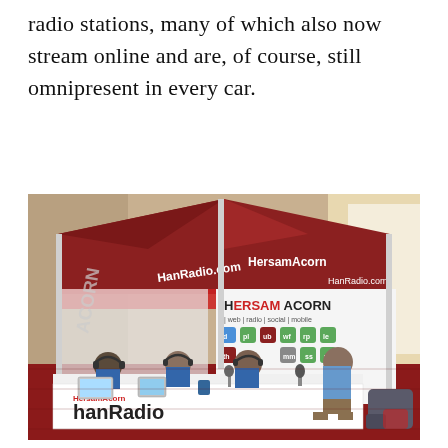radio stations, many of which also now stream online and are, of course, still omnipresent in every car.
[Figure (photo): A radio broadcasting booth setup under a large red and white tent at an event venue. The tent displays 'HanRadio.com' and 'HersamAcorn' branding. Four people are seated at a table with microphones and laptops, conducting a broadcast. A banner in front of the table reads 'hanRadio'. Behind them is a HersamAcorn display board showing icons for web, radio, social, and mobile services.]